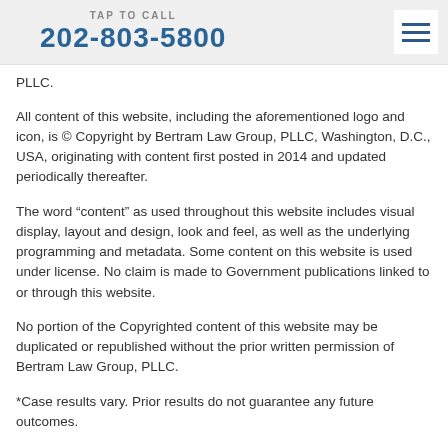TAP TO CALL 202-803-5800
PLLC.
All content of this website, including the aforementioned logo and icon, is © Copyright by Bertram Law Group, PLLC, Washington, D.C., USA, originating with content first posted in 2014 and updated periodically thereafter.
The word “content” as used throughout this website includes visual display, layout and design, look and feel, as well as the underlying programming and metadata. Some content on this website is used under license. No claim is made to Government publications linked to or through this website.
No portion of the Copyrighted content of this website may be duplicated or republished without the prior written permission of Bertram Law Group, PLLC.
*Case results vary. Prior results do not guarantee any future outcomes.